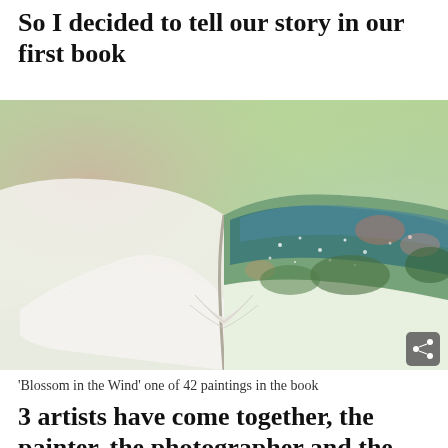So I decided to tell our story in our first book
[Figure (photo): An open book photographed close-up, showing white pages on the left and a colorful illustrated page with green, blue, and pink painterly textures on the right. The background is a soft blurred mix of green, yellow, and pink tones. A share icon button appears in the bottom-right corner of the image.]
'Blossom in the Wind' one of 42 paintings in the book
3 artists have come together, the painter, the photographer and the illustrator